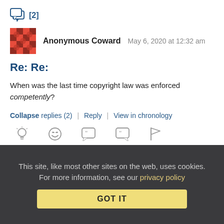[Figure (illustration): Speech bubble with [2] badge icon in blue]
Anonymous Coward   May 6, 2020 at 12:32 am
Re: Re:
When was the last time copyright law was enforced competently?
Collapse replies (2) | Reply | View in chronology
[Figure (illustration): Row of action icons: lightbulb, laughing emoji, open-quote bubble, close-quote bubble, flag]
This site, like most other sites on the web, uses cookies. For more information, see our privacy policy
GOT IT